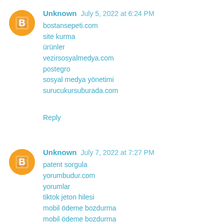Unknown July 5, 2022 at 6:24 PM
bostansepeti.com
site kurma
ürünler
vezirsosyalmedya.com
postegro
sosyal medya yönetimi
surucukursuburada.com
Reply
Unknown July 7, 2022 at 7:27 PM
patent sorgula
yorumbudur.com
yorumlar
tiktok jeton hilesi
mobil ödeme bozdurma
mobil ödeme bozdurma
mobil ödeme bozdurma